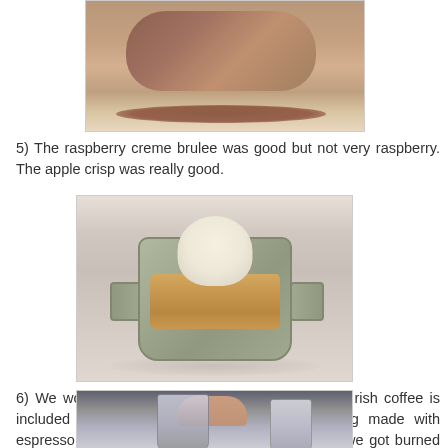[Figure (photo): Photo of a meat dish (appears to be stacked/layered meat) with dark sauce on a white plate, partially visible at top of page]
5)  The raspberry creme brulee was good but not very raspberry. The apple crisp was really good.
[Figure (photo): Photo of an apple crisp dessert in a silver/metal handled pan, topped with a scoop of vanilla ice cream, served on a white plate]
6) We worked this out on like day 4, but weirdly, Irish coffee is included in the drink package, whereas anything made with espresso (latte, cappuccino, etc.) is not included (we got burned at the atrium bar buying a cappuccino).
[Figure (photo): Photo of drinks/glasses on a table, partially visible at bottom of page, appears to show coffee or drink glasses]